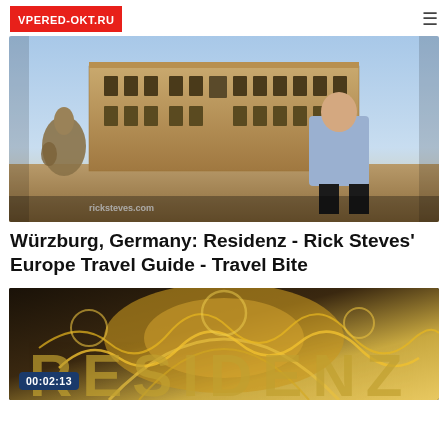VPERED-OKT.RU
[Figure (photo): A man in a purple shirt smiling in front of a large ornate European palace/building (Würzburg Residenz, Germany), with decorative statues and a fountain in the foreground. Text overlay: ricksteves.com]
Würzburg, Germany: Residenz - Rick Steves' Europe Travel Guide - Travel Bite
[Figure (photo): Close-up of ornate Baroque interior decoration with gilded stucco work, showing elaborate golden architectural details. Video timestamp overlay: 00:02:13]